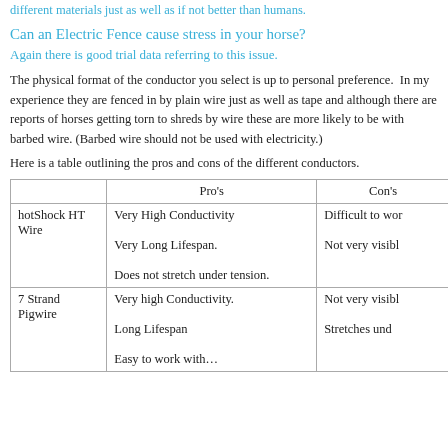different materials just as well as if not better than humans.
Can an Electric Fence cause stress in your horse?
Again there is good trial data referring to this issue.
The physical format of the conductor you select is up to personal preference.  In my experience they are fenced in by plain wire just as well as tape and although there are reports of horses getting torn to shreds by wire these are more likely to be with barbed wire. (Barbed wire should not be used with electricity.)
Here is a table outlining the pros and cons of the different conductors.
|  | Pro's | Con's |
| --- | --- | --- |
| hotShock HT Wire | Very High Conductivity

Very Long Lifespan.

Does not stretch under tension. | Difficult to wor…

Not very visibl… |
| 7 Strand Pigwire | Very high Conductivity.

Long Lifespan

Easy to work with… | Not very visibl…

Stretches und… |